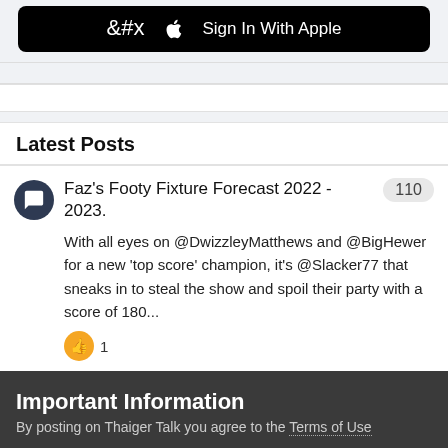[Figure (screenshot): Sign In With Apple button (black background, Apple logo, white text)]
Latest Posts
Faz's Footy Fixture Forecast 2022 - 2023. 110
With all eyes on @DwizzleyMatthews and @BigHewer for a new 'top score' champion, it's @Slacker77 that sneaks in to steal the show and spoil their party with a score of 180...
1
Important Information
By posting on Thaiger Talk you agree to the Terms of Use
✓  I accept